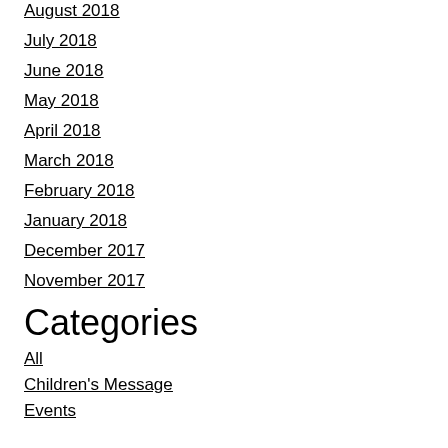August 2018
July 2018
June 2018
May 2018
April 2018
March 2018
February 2018
January 2018
December 2017
November 2017
Categories
All
Children's Message
Events
Newsletters
Pastor Dave
Sermons